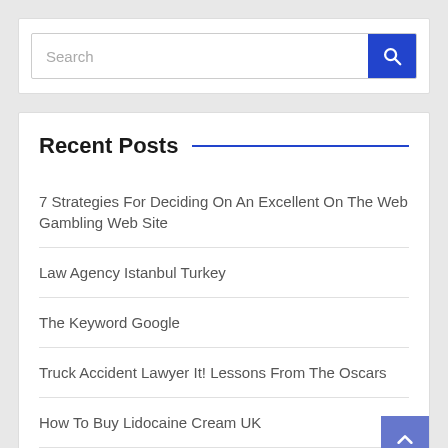Search
Recent Posts
7 Strategies For Deciding On An Excellent On The Web Gambling Web Site
Law Agency Istanbul Turkey
The Keyword Google
Truck Accident Lawyer It! Lessons From The Oscars
How To Buy Lidocaine Cream UK